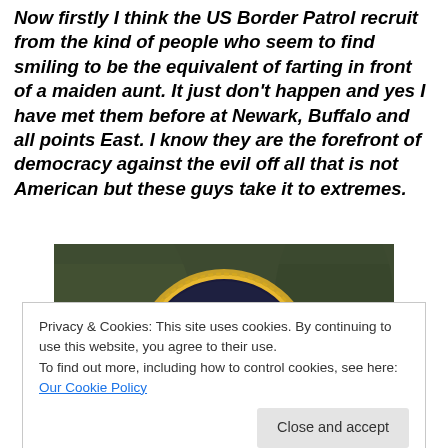Now firstly I think the US Border Patrol recruit from the kind of people who seem to find smiling to be the equivalent of farting in front of a maiden aunt. It just don't happen and yes I have met them before at Newark, Buffalo and all points East. I know they are the forefront of democracy against the evil off all that is not American but these guys take it to extremes.
[Figure (photo): Close-up photo of a US Border Patrol badge/patch on a green uniform, showing a circular dark patch with gold border and yellow text reading 'U.S.' and partial 'ER' visible]
Privacy & Cookies: This site uses cookies. By continuing to use this website, you agree to their use.
To find out more, including how to control cookies, see here: Our Cookie Policy